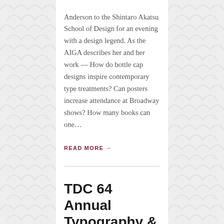Anderson to the Shintaro Akatsu School of Design for an evening with a design legend. As the AIGA describes her and her work — How do bottle cap designs inspire contemporary type treatments? Can posters increase attendance at Broadway shows? How many books can one…
READ MORE →
TDC 64 Annual Typography & Type Design Exhibition
Wed 20, Oct 5:00 – 7:00